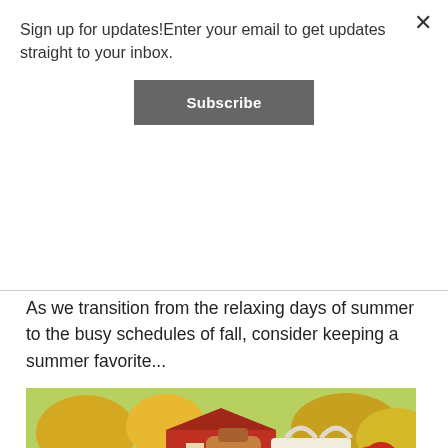Sign up for updates!Enter your email to get updates straight to your inbox.
Subscribe
As we transition from the relaxing days of summer to the busy schedules of fall, consider keeping a summer favorite...
[Figure (photo): Photo of apple cider jug and a Parmar's Cider Hill shopping bag with apples on a table, with a red barn in the background surrounded by autumn foliage.]